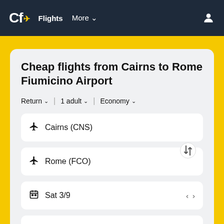Cf Flights More
Cheap flights from Cairns to Rome Fiumicino Airport
Return  1 adult  Economy
Cairns (CNS)
Rome (FCO)
Sat 3/9
Sat 10/9